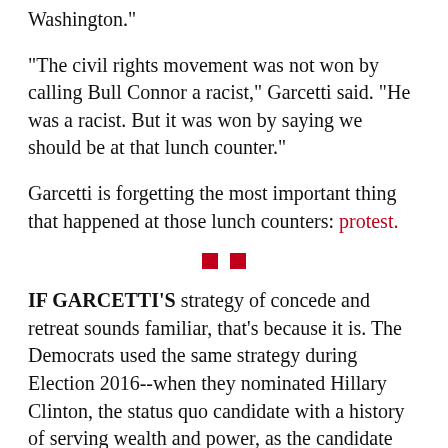Washington."
"The civil rights movement was not won by calling Bull Connor a racist," Garcetti said. "He was a racist. But it was won by saying we should be at that lunch counter."
Garcetti is forgetting the most important thing that happened at those lunch counters: protest.
[Figure (other): Two small red squares used as a section divider]
IF GARCETTI'S strategy of concede and retreat sounds familiar, that's because it is. The Democrats used the same strategy during Election 2016--when they nominated Hillary Clinton, the status quo candidate with a history of serving wealth and power, as the candidate they were sure would win easily against Trump.
(cutoff text at bottom)